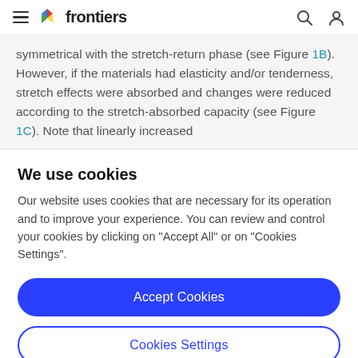frontiers (navigation bar with hamburger menu, logo, search and user icons)
symmetrical with the stretch-return phase (see Figure 1B). However, if the materials had elasticity and/or tenderness, stretch effects were absorbed and changes were reduced according to the stretch-absorbed capacity (see Figure 1C). Note that linearly increased
We use cookies
Our website uses cookies that are necessary for its operation and to improve your experience. You can review and control your cookies by clicking on "Accept All" or on "Cookies Settings".
Accept Cookies
Cookies Settings